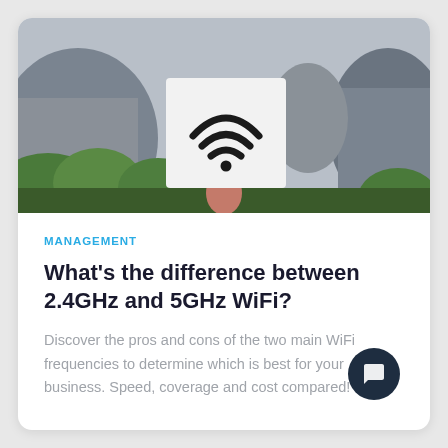[Figure (photo): A hand holding a white card with a WiFi symbol icon, set against an outdoor background with rocks, cliffs, and green foliage under a grey sky.]
MANAGEMENT
What’s the difference between 2.4GHz and 5GHz WiFi?
Discover the pros and cons of the two main WiFi frequencies to determine which is best for your business. Speed, coverage and cost compared!